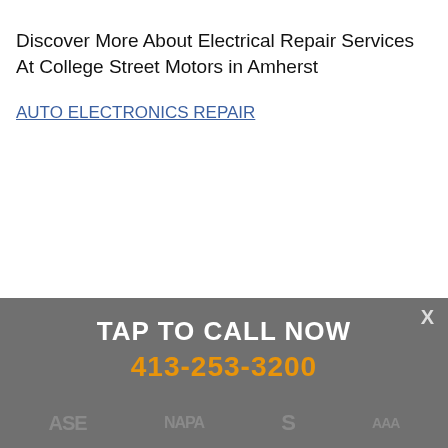Discover More About Electrical Repair Services At College Street Motors in Amherst
AUTO ELECTRONICS REPAIR
TAP TO CALL NOW
413-253-3200